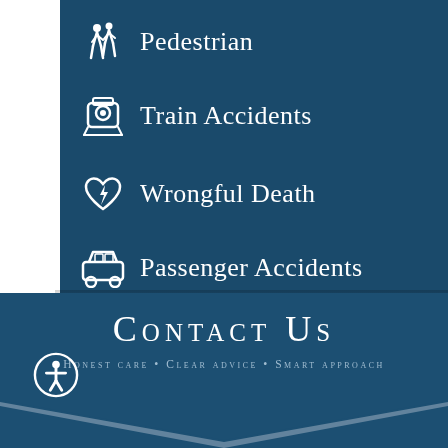Pedestrian
Train Accidents
Wrongful Death
Passenger Accidents
Contact Us
Honest care • Clear advice • Smart approach
[Figure (illustration): Accessibility icon: person in circle at bottom left]